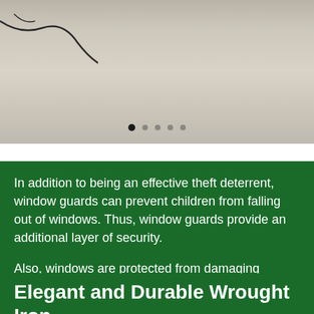[Figure (photo): Partial photo of a concrete or stone surface with a branch visible in the upper left corner. Carousel navigation dots are visible at the bottom of the image.]
In addition to being an effective theft deterrent, window guards can prevent children from falling out of windows. Thus, window guards provide an additional layer of security.
Also, windows are protected from damaging outdoor elements. For example, flying debris and tree limbs can damage windows in a severe storm. If a window guard is installed, it acts as a shield to minimize the risk.
Elegant and Durable Wrought Iron